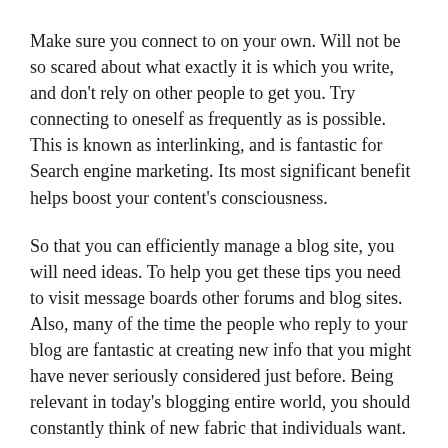Make sure you connect to on your own. Will not be so scared about what exactly it is which you write, and don't rely on other people to get you. Try connecting to oneself as frequently as is possible. This is known as interlinking, and is fantastic for Search engine marketing. Its most significant benefit helps boost your content's consciousness.
So that you can efficiently manage a blog site, you will need ideas. To help you get these tips you need to visit message boards other forums and blog sites. Also, many of the time the people who reply to your blog are fantastic at creating new info that you might have never seriously considered just before. Being relevant in today's blogging entire world, you should constantly think of new fabric that individuals want.
Combine expressing widgets for social networking web sites. As you aim to develop your readership basic, social network is a great way for your readers to discuss with other people. By giving opportunities to your blog site to become transmit to friends and family, you are going to drive your follower base up substantially.